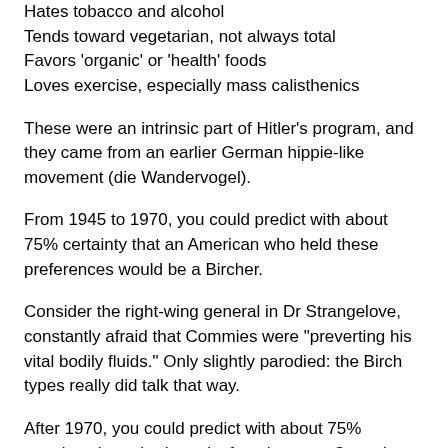Hates tobacco and alcohol
Tends toward vegetarian, not always total
Favors 'organic' or 'health' foods
Loves exercise, especially mass calisthenics
These were an intrinsic part of Hitler's program, and they came from an earlier German hippie-like movement (die Wandervogel).
From 1945 to 1970, you could predict with about 75% certainty that an American who held these preferences would be a Bircher.
Consider the right-wing general in Dr Strangelove, constantly afraid that Commies were "preverting his vital bodily fluids." Only slightly parodied: the Birch types really did talk that way.
After 1970, you could predict with about 75% certainty that a body-purity fanatic was a Commie.
The taboo switch corresponds exactly with the official switch